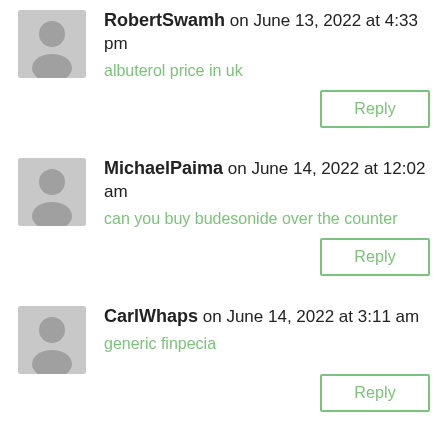RobertSwamh on June 13, 2022 at 4:33 pm
albuterol price in uk
Reply
MichaelPaima on June 14, 2022 at 12:02 am
can you buy budesonide over the counter
Reply
CarlWhaps on June 14, 2022 at 3:11 am
generic finpecia
Reply